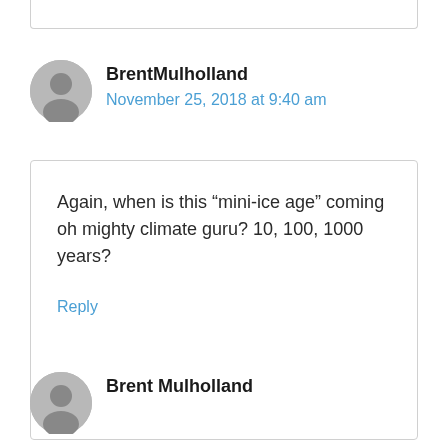BrentMulholland
November 25, 2018 at 9:40 am
Again, when is this “mini-ice age” coming oh mighty climate guru? 10, 100, 1000 years?
Reply
Brent Mulholland